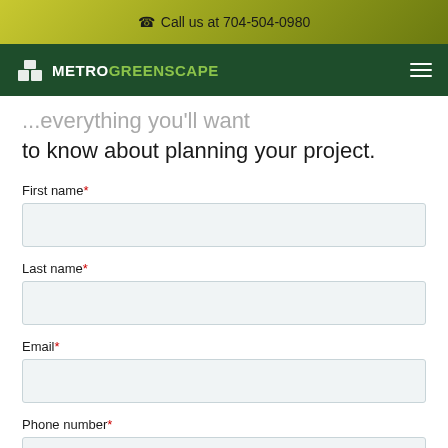Call us at 704-504-0980
[Figure (logo): MetroGreenscape logo with icon on dark green navigation bar with hamburger menu]
to know about planning your project.
First name*
Last name*
Email*
Phone number*